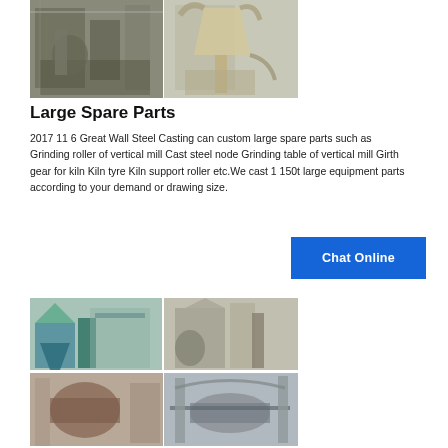[Figure (photo): Two industrial photos side by side: left shows a vertical mill with grinding equipment in a factory setting; right shows a large vertical mill/separator unit outdoors.]
Large Spare Parts
2017 11 6 Great Wall Steel Casting can custom large spare parts such as Grinding roller of vertical mill Cast steel node Grinding table of vertical mill Girth gear for kiln Kiln tyre Kiln support roller etc.We cast 1 150t large equipment parts according to your demand or drawing size.
[Figure (other): Chat Online button (blue rectangle)]
[Figure (photo): Four industrial photos in a 2x2 grid: top-left shows dust collector/industrial equipment with blue structures; top-right shows a milling/grinding plant; bottom-left shows a large industrial pipe/roller component; bottom-right shows a ball mill or rotary kiln installation.]